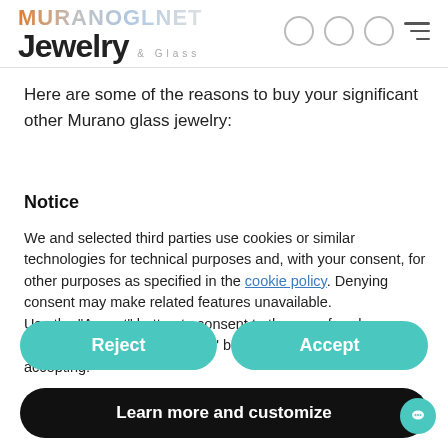MURANOGLNET Jewelry & Glass
Here are some of the reasons to buy your significant other Murano glass jewelry:
Notice
We and selected third parties use cookies or similar technologies for technical purposes and, with your consent, for other purposes as specified in the cookie policy. Denying consent may make related features unavailable.
Use the "Accept" button to consent to the use of such technologies. Use the "Reject" button to continue without accepting.
Reject
Accept
Learn more and customize